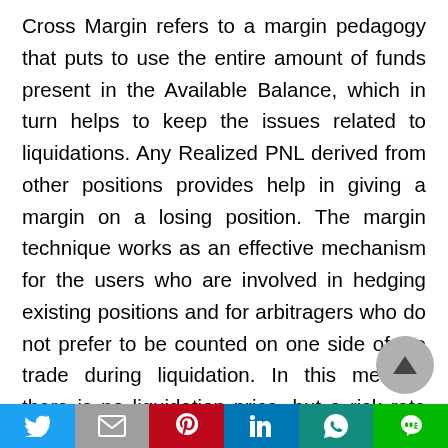Cross Margin refers to a margin pedagogy that puts to use the entire amount of funds present in the Available Balance, which in turn helps to keep the issues related to liquidations. Any Realized PNL derived from other positions provides help in giving a margin on a losing position. The margin technique works as an effective mechanism for the users who are involved in hedging existing positions and for arbitragers who do not prefer to be counted on one side of the trade during liquidation. In this method, there is no liquidation price, but a risk rate as multiple tokens can be taken for the margin purpose. Cross margin offers 5x leverage to its customers. The interest on the
[Figure (other): Social sharing bar with icons: Twitter (blue), Gmail (gray), Pinterest (red), LinkedIn (blue), WhatsApp (teal), LINE (green)]